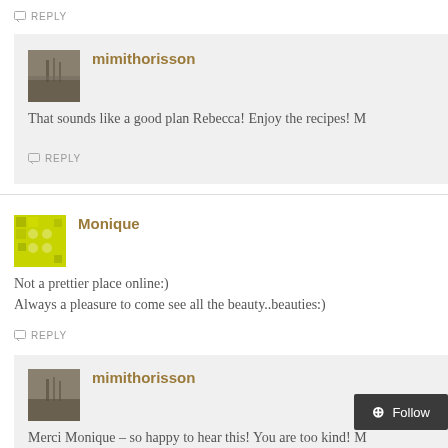REPLY
mimithorisson
That sounds like a good plan Rebecca! Enjoy the recipes! M
REPLY
Monique
Not a prettier place online:)
Always a pleasure to come see all the beauty..beauties:)
REPLY
mimithorisson
Merci Monique – so happy to hear this! You are too kind! M
REPLY